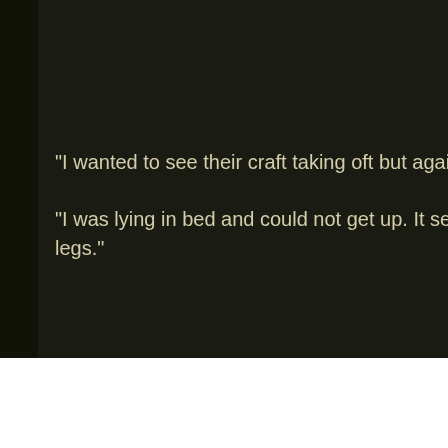"I wanted to see their craft taking oft but again I think they c...
"I was lying in bed and could not get up. It seemed like I ha... legs."